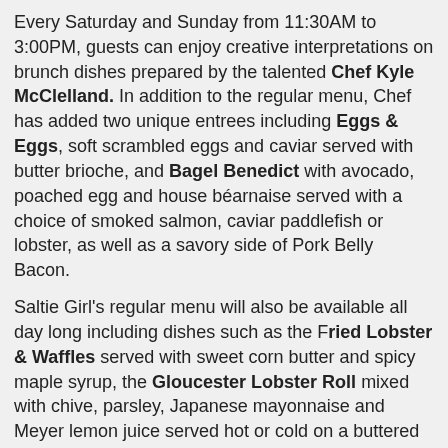Every Saturday and Sunday from 11:30AM to 3:00PM, guests can enjoy creative interpretations on brunch dishes prepared by the talented Chef Kyle McClelland. In addition to the regular menu, Chef has added two unique entrees including Eggs & Eggs, soft scrambled eggs and caviar served with butter brioche, and Bagel Benedict with avocado, poached egg and house béarnaise served with a choice of smoked salmon, caviar paddlefish or lobster, as well as a savory side of Pork Belly Bacon.
Saltie Girl's regular menu will also be available all day long including dishes such as the Fried Lobster & Waffles served with sweet corn butter and spicy maple syrup, the Gloucester Lobster Roll mixed with chive, parsley, Japanese mayonnaise and Meyer lemon juice served hot or cold on a buttered brioche roll with house-made salt & vinegar chips, and the Saltie Girl Burger, a three beef blend topped with gruyère, avocado, fried lobster, house cured pork belly and angry or classic sauce.
Richard Auffrey at 2:30 AM   2 comments: